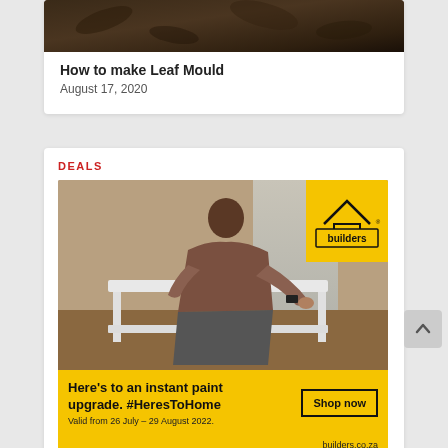[Figure (photo): Close-up photo of leaves/leaf mould compost material, dark brown organic matter]
How to make Leaf Mould
August 17, 2020
DEALS
[Figure (photo): Advertisement banner for Builders showing a man leaning over a white furniture piece doing DIY work, with Builders logo in yellow box top right, and yellow footer with text 'Here's to an instant paint upgrade. #HeresToHome', 'Shop now' button, 'Valid from 26 July – 29 August 2022.', and 'builders.co.za']